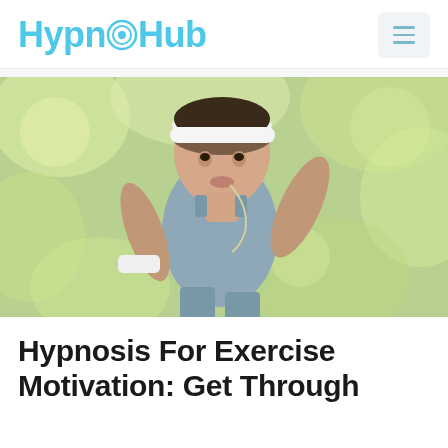HypnoHub
[Figure (photo): Woman running outdoors wearing a white headband, grey sports bra, white wristband, and earphones. Green bokeh background suggesting a park or outdoor setting.]
Hypnosis For Exercise Motivation: Get Through